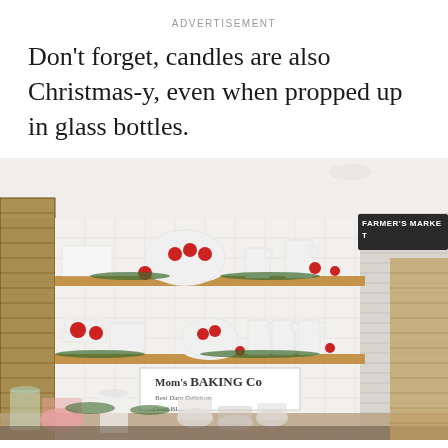ADVERTISEMENT
Don't forget, candles are also Christmas-y, even when propped up in glass bottles.
[Figure (photo): A farmhouse-style kitchen with open wooden shelves decorated for Christmas. White ceramic bowls and pitchers are displayed alongside red ornament balls and greenery. A 'FARMER'S MARKET' sign is visible on the right wall. The lower shelf has more white dishes and a 'Mom's BAKING Co' sign. The countertop below has glass jars filled with candy canes and other holiday treats.]